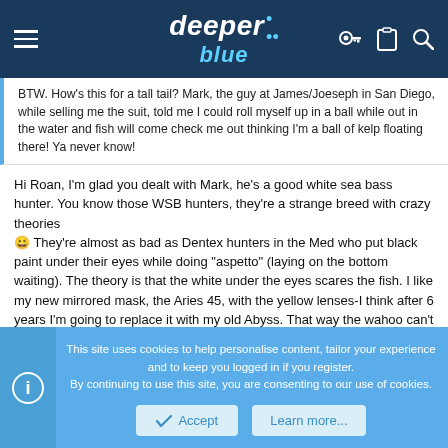DeeperBlue website header with navigation icons
BTW. How's this for a tall tail? Mark, the guy at James/Joeseph in San Diego, while selling me the suit, told me I could roll myself up in a ball while out in the water and fish will come check me out thinking I'm a ball of kelp floating there! Ya never know!
Hi Roan, I'm glad you dealt with Mark, he's a good white sea bass hunter. You know those WSB hunters, they're a strange breed with crazy theories 😀 They're almost as bad as Dentex hunters in the Med who put black paint under their eyes while doing "aspetto" (laying on the bottom waiting). The theory is that the white under the eyes scares the fish. I like my new mirrored mask, the Aries 45, with the yellow lenses-I think after 6 years I'm going to replace it with my old Abyss. That way the wahoo can't see me staring at them intent on wrecking havoc on their day 😉
This site uses cookies to help personalise content, tailor your experience and to keep you logged in if you register. By continuing to use this site, you are consenting to our use of cookies.